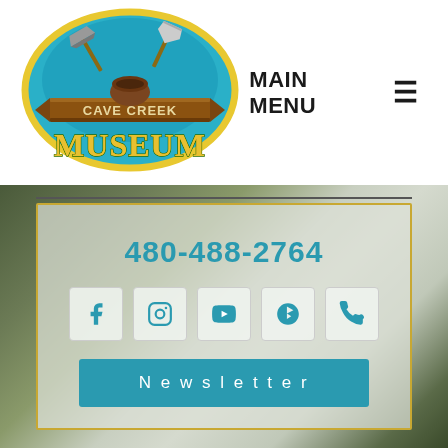[Figure (logo): Cave Creek Museum logo: teal oval with pickaxe and trowel, brown wooden banner reading CAVE CREEK, large stylized yellow/green MUSEUM text]
MAIN MENU ≡
480-488-2764
[Figure (infographic): Row of 5 social media icon buttons: Facebook, Instagram, YouTube, Yelp, Phone]
Newsletter